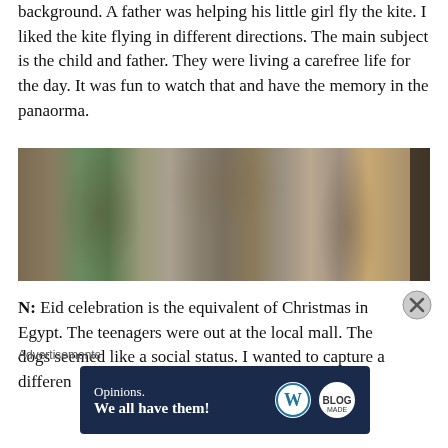background. A father was helping his little girl fly the kite. I liked the kite flying in different directions. The main subject is the child and father. They were living a carefree life for the day. It was fun to watch that and have the memory in the panaorma.
[Figure (photo): Panoramic outdoor scene showing a group of teenagers and people gathered around a concrete structure in a dusty open area, with trees and a red-roofed building in the background. Two people with dogs are visible on the structure.]
N: Eid celebration is the equivalent of Christmas in Egypt. The teenagers were out at the local mall. The dogs seemed like a social status. I wanted to capture a differen
Advertisements
[Figure (infographic): WordPress advertisement banner with dark blue background reading 'Opinions. We all have them!' with WordPress logo and another circular logo.]